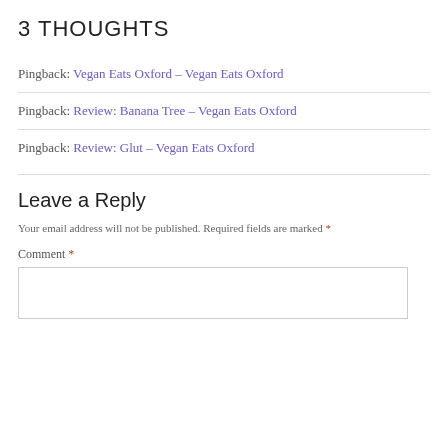3 THOUGHTS
Pingback: Vegan Eats Oxford – Vegan Eats Oxford
Pingback: Review: Banana Tree – Vegan Eats Oxford
Pingback: Review: Glut – Vegan Eats Oxford
Leave a Reply
Your email address will not be published. Required fields are marked *
Comment *